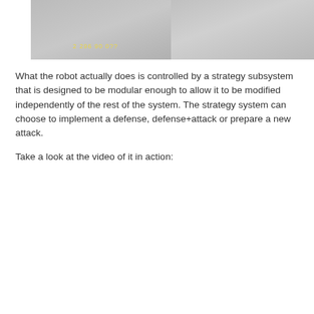[Figure (photo): Cropped photo showing a surface with a crack or seam and yellow text overlay reading '2 296 90 0??']
What the robot actually does is controlled by a strategy subsystem that is designed to be modular enough to allow it to be modified independently of the rest of the system. The strategy system can choose to implement a defense, defense+attack or prepare a new attack.
Take a look at the video of it in action:
[Figure (screenshot): YouTube video thumbnail for 'Air Hockey Robot Project (a 3D pr...' showing an air hockey table with a person on the left and a robotic arm on the right, with a red YouTube play button in the center.]